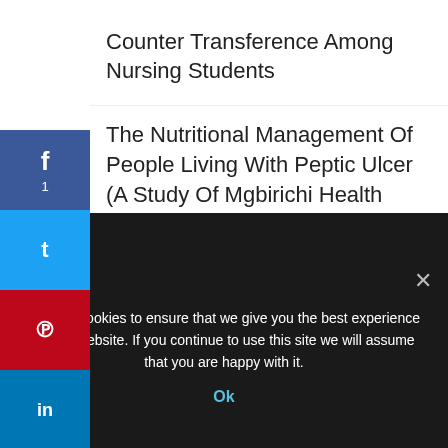Counter Transference Among Nursing Students
The Nutritional Management Of People Living With Peptic Ulcer (A Study Of Mgbirichi Health Centre In Ohaji L.G.A)
Hybridity As A Permanent And Inevitable Characteristic Of The Third Sector
We use cookies to ensure that we give you the best experience on our website. If you continue to use this site we will assume that you are happy with it.